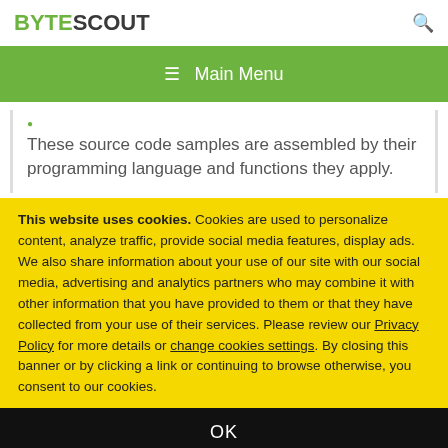BYTESCOUT
≡  Main Menu
These source code samples are assembled by their programming language and functions they apply.
This website uses cookies. Cookies are used to personalize content, analyze traffic, provide social media features, display ads. We also share information about your use of our site with our social media, advertising and analytics partners who may combine it with other information that you have provided to them or that they have collected from your use of their services. Please review our Privacy Policy for more details or change cookies settings. By closing this banner or by clicking a link or continuing to browse otherwise, you consent to our cookies.
OK